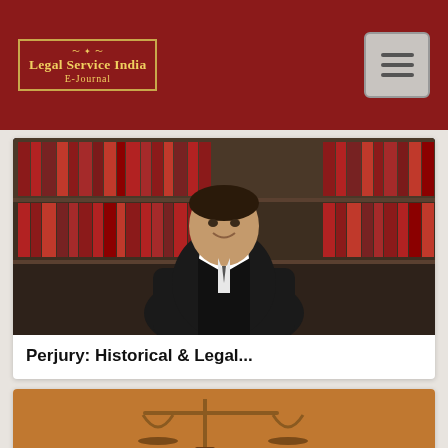Legal Service India E-Journal
[Figure (photo): Photo of a man in a suit sitting in a chair in front of a bookshelf filled with law books]
Perjury: Historical & Legal...
[Figure (photo): Partial view of a legal-themed photo showing scales of justice, warm orange/brown tones]